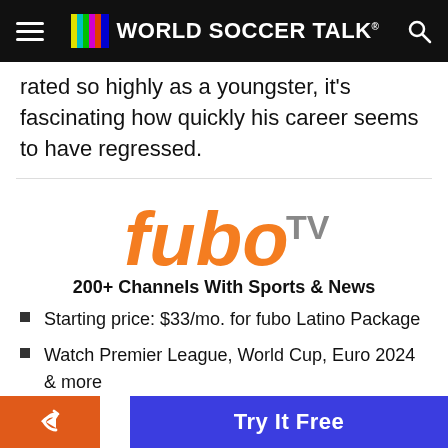World Soccer Talk
rated so highly as a youngster, it's fascinating how quickly his career seems to have regressed.
[Figure (logo): fuboTV logo — 'fubo' in orange, 'TV' in gray]
200+ Channels With Sports & News
Starting price: $33/mo. for fubo Latino Package
Watch Premier League, World Cup, Euro 2024 & more
Try It Free